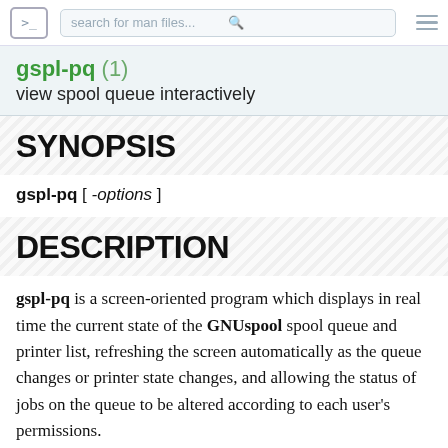search for man files...
gspl-pq (1)
view spool queue interactively
SYNOPSIS
gspl-pq [ -options ]
DESCRIPTION
gspl-pq is a screen-oriented program which displays in real time the current state of the GNUspool spool queue and printer list, refreshing the screen automatically as the queue changes or printer state changes, and allowing the status of jobs on the queue to be altered according to each user's permissions.